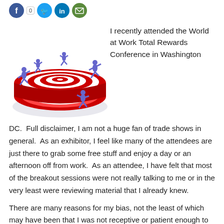[Figure (other): Social media share icons: Facebook (blue circle with f), share count 0, Twitter (light blue circle with bird), LinkedIn (blue circle with in), Email (green circle with envelope)]
[Figure (illustration): 3D illustration of cartoon blue human figures running around a red and white bullseye target on the ground]
I recently attended the World at Work Total Rewards Conference in Washington DC.  Full disclaimer, I am not a huge fan of trade shows in general.  As an exhibitor, I feel like many of the attendees are just there to grab some free stuff and enjoy a day or an afternoon off from work.  As an attendee, I have felt that most of the breakout sessions were not really talking to me or in the very least were reviewing material that I already knew.
There are many reasons for my bias, not the least of which may have been that I was not receptive or patient enough to